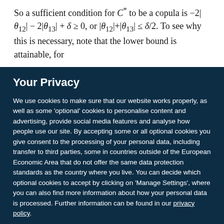So a sufficient condition for C* to be a copula is −2|θ₁₂| − 2|θ₁₃| + δ ≥ 0, or |θ₁₂|+|θ₁₃| ≤ δ/2. To see why this is necessary, note that the lower bound is attainable, for
Your Privacy
We use cookies to make sure that our website works properly, as well as some 'optional' cookies to personalise content and advertising, provide social media features and analyse how people use our site. By accepting some or all optional cookies you give consent to the processing of your personal data, including transfer to third parties, some in countries outside of the European Economic Area that do not offer the same data protection standards as the country where you live. You can decide which optional cookies to accept by clicking on 'Manage Settings', where you can also find more information about how your personal data is processed. Further information can be found in our privacy policy.
Accept all cookies | Manage preferences